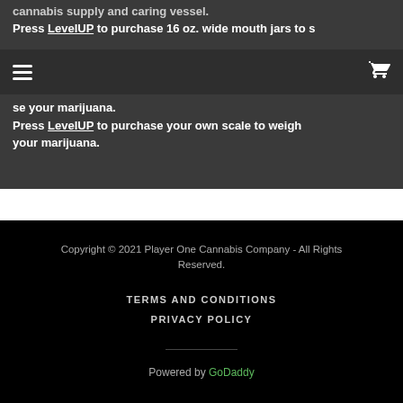cannabis supply and caring vessel. Press LevelUP to purchase 16 oz. wide mouth jars to store your marijuana. Press LevelUP to purchase your own scale to weigh your marijuana.
Copyright © 2021 Player One Cannabis Company - All Rights Reserved.
TERMS AND CONDITIONS
PRIVACY POLICY
Powered by GoDaddy